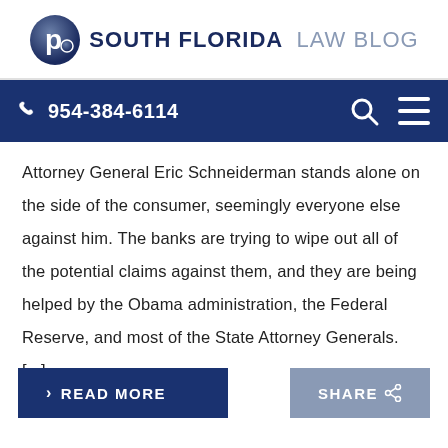[Figure (logo): South Florida Law Blog logo with circular icon containing letter P and text 'SOUTH FLORIDA LAW BLOG']
📞 954-384-6114
Attorney General Eric Schneiderman stands alone on the side of the consumer, seemingly everyone else against him. The banks are trying to wipe out all of the potential claims against them, and they are being helped by the Obama administration, the Federal Reserve, and most of the State Attorney Generals. [...]
READ MORE
SHARE